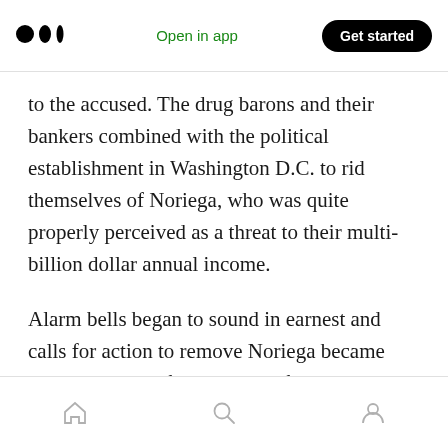Medium app header — Open in app | Get started
to the accused. The drug barons and their bankers combined with the political establishment in Washington D.C. to rid themselves of Noriega, who was quite properly perceived as a threat to their multi-billion dollar annual income.
Alarm bells began to sound in earnest and calls for action to remove Noriega became strident in 1986 following the forced closure of First Interamerica Bank and the PDF raid on Banco de Iberoamerica, which was owned by the Cali
Bottom navigation bar — Home, Search, Profile